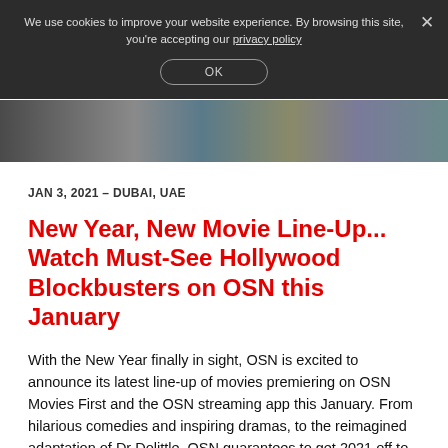We use cookies to improve your website experience. By browsing this site, you're accepting our privacy policy
OK
[Figure (photo): Image strip showing partial movie-related photos across the full width]
JAN 3, 2021 – DUBAI, UAE
New Year, New Movie Line-Up... Watch Must-See Hollywood Blockbusters on OSN this January
With the New Year finally in sight, OSN is excited to announce its latest line-up of movies premiering on OSN Movies First and the OSN streaming app this January. From hilarious comedies and inspiring dramas, to the reimagined adaptation of Dr Dolittle, OSN guarantees to get 2021 off to the perfect start!